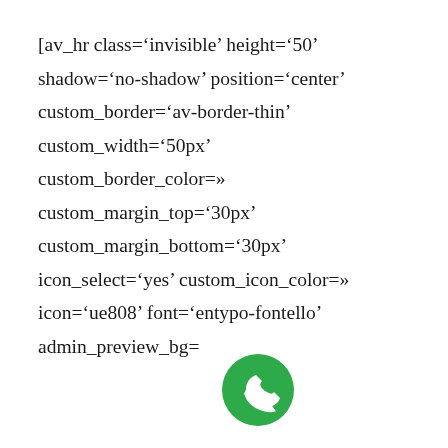[av_hr class='invisible' height='50' shadow='no-shadow' position='center' custom_border='av-border-thin' custom_width='50px' custom_border_color=» custom_margin_top='30px' custom_margin_bottom='30px' icon_select='yes' custom_icon_color=» icon='ue808' font='entypo-fontello' admin_preview_bg=
[Figure (illustration): Green circle with white telephone handset icon (phone icon overlay)]